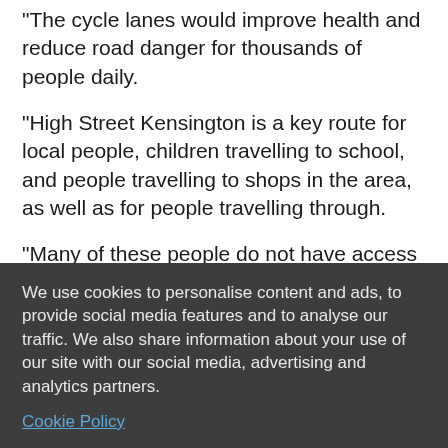"The cycle lanes would improve health and reduce road danger for thousands of people daily.
"High Street Kensington is a key route for local people, children travelling to school, and people travelling to shops in the area, as well as for people travelling through.
"Many of these people do not have access to a car, and restricted access to public transport during Covid.
"As with all schemes, community engagement and communications with all relevant stakeholders is of huge importance."
We use cookies to personalise content and ads, to provide social media features and to analyse our traffic. We also share information about your use of our site with our social media, advertising and analytics partners.
Cookie Policy